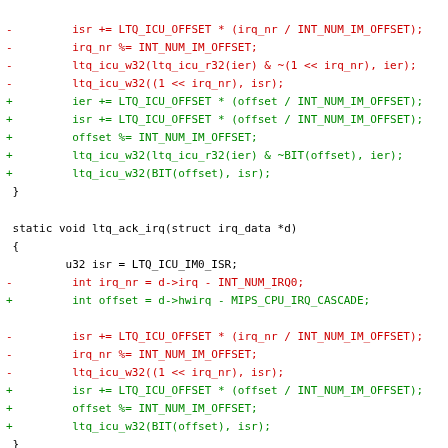Code diff showing changes to IRQ handling functions: removed irq_nr based logic, added offset/hwirq based logic. Includes static void ltq_ack_irq function.